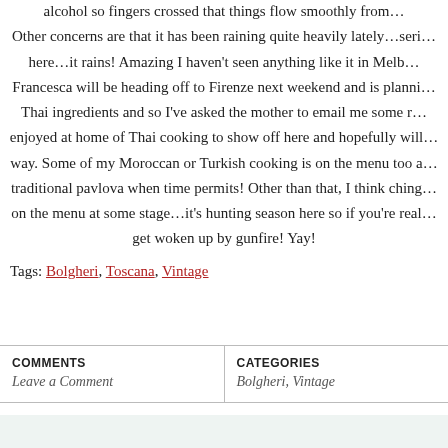alcohol so fingers crossed that things flow smoothly from… Other concerns are that it has been raining quite heavily lately…seri… here…it rains! Amazing I haven't seen anything like it in Melb… Francesca will be heading off to Firenze next weekend and is planni… Thai ingredients and so I've asked the mother to email me some r… enjoyed at home of Thai cooking to show off here and hopefully will… way. Some of my Moroccan or Turkish cooking is on the menu too a… traditional pavlova when time permits! Other than that, I think ching… on the menu at some stage…it's hunting season here so if you're real… get woken up by gunfire! Yay!
Tags: Bolgheri, Toscana, Vintage
COMMENTS | Leave a Comment | CATEGORIES | Bolgheri, Vintage